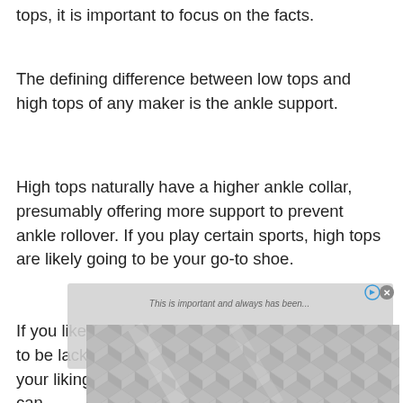tops, it is important to focus on the facts.
The defining difference between low tops and high tops of any maker is the ankle support.
High tops naturally have a higher ankle collar, presumably offering more support to prevent ankle rollover. If you play certain sports, high tops are likely going to be your go-to shoe.
If you like the look of Chucks, but find the support to be lacking, then the Nobull high top may be to your liking. It is a perfect everyday shoe, and it can
[Figure (other): Advertisement overlay with diamond pattern image and ad controls (play button and close button) at bottom of page]